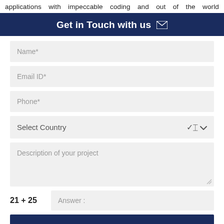applications with impeccable coding and out of the world
Get in Touch with us ✉
Name*
Email ID*
Phone*
Select Country
Description of your project
21 + 25   Answer :
SUBMIT